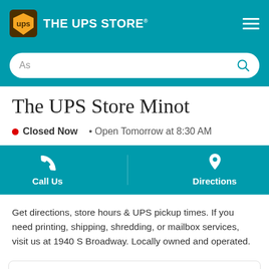THE UPS STORE
As
The UPS Store Minot
Closed Now • Open Tomorrow at 8:30 AM
Call Us
Directions
Get directions, store hours & UPS pickup times. If you need printing, shipping, shredding, or mailbox services, visit us at 1940 S Broadway. Locally owned and operated.
1940 S Broadway
Minot, ND 58701